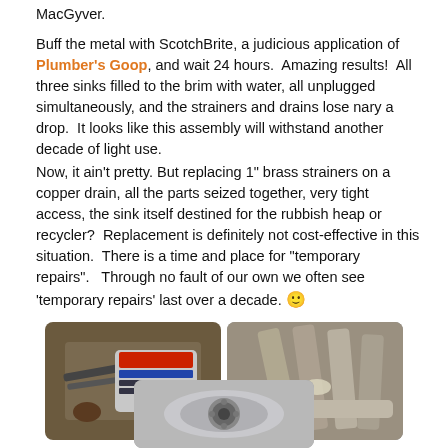MacGyver.
Buff the metal with ScotchBrite, a judicious application of Plumber's Goop, and wait 24 hours.  Amazing results!  All three sinks filled to the brim with water, all unplugged simultaneously, and the strainers and drains lose nary a drop.  It looks like this assembly will withstand another decade of light use.
Now, it ain't pretty. But replacing 1" brass strainers on a copper drain, all the parts seized together, very tight access, the sink itself destined for the rubbish heap or recycler?  Replacement is definitely not cost-effective in this situation.  There is a time and place for "temporary repairs".   Through no fault of our own we often see 'temporary repairs' last over a decade. 🙂
[Figure (photo): Two photos side by side: left shows plumbing tools and a Plumber's Goop package on a workbench; right shows copper drain pipes under a sink with sealant applied.]
[Figure (photo): Bottom photo showing the underside of a sink drain assembly, stainless steel sink visible with drain hardware.]